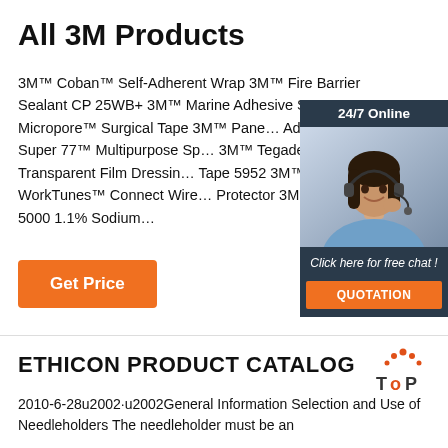All 3M Products
3M™ Coban™ Self-Adherent Wrap 3M™ Fire Barrier Sealant CP 25WB+ 3M™ Marine Adhesive S… 3M™ Micropore™ Surgical Tape 3M™ Pane… Adhesive 3M™ Super 77™ Multipurpose Sp… 3M™ Tegaderm™ Transparent Film Dressin… Tape 5952 3M™ WorkTunes™ Connect Wire… Protector 3M™ Clinpro™ 5000 1.1% Sodium…
[Figure (photo): Customer service representative with headset, 24/7 Online chat widget with QUOTATION button]
Get Price
ETHICON PRODUCT CATALOG
2010-6-28u2002·u2002General Information Selection and Use of Needleholders The needleholder must be an